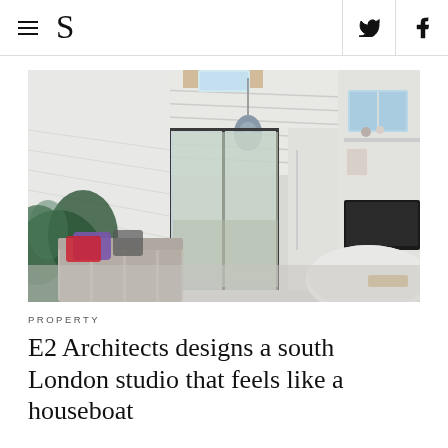≡  S  [twitter] [facebook]
[Figure (photo): Interior of a narrow white studio space with vaulted white shiplap ceiling, a pendant grey light, glass sliding doors opening to an outdoor courtyard, a grey sofa with colourful cushions, tropical plant, and a white dining table with a TV screen on the right wall.]
PROPERTY
E2 Architects designs a south London studio that feels like a houseboat